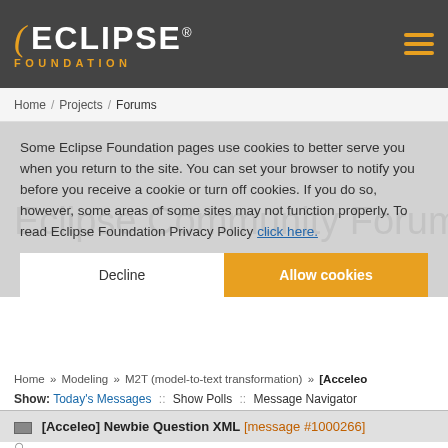Eclipse Foundation
Home / Projects / Forums
Some Eclipse Foundation pages use cookies to better serve you when you return to the site. You can set your browser to notify you before you receive a cookie or turn off cookies. If you do so, however, some areas of some sites may not function properly. To read Eclipse Foundation Privacy Policy click here.
Eclipse Community Forum
Home » Modeling » M2T (model-to-text transformation) » [Acceleo
Show: Today's Messages :: Show Polls :: Message Navigator
[Acceleo] Newbie Question XML [message #1000266]